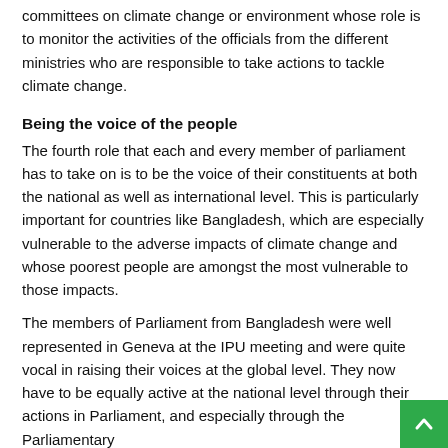committees on climate change or environment whose role is to monitor the activities of the officials from the different ministries who are responsible to take actions to tackle climate change.
Being the voice of the people
The fourth role that each and every member of parliament has to take on is to be the voice of their constituents at both the national as well as international level. This is particularly important for countries like Bangladesh, which are especially vulnerable to the adverse impacts of climate change and whose poorest people are amongst the most vulnerable to those impacts.
The members of Parliament from Bangladesh were well represented in Geneva at the IPU meeting and were quite vocal in raising their voices at the global level. They now have to be equally active at the national level through their actions in Parliament, and especially through the Parliamentary